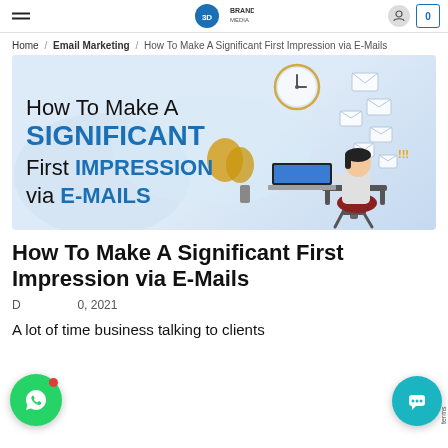Home / Email Marketing / How To Make A Significant First Impression via E-Mails
[Figure (illustration): Hero banner illustration for article about making a significant first impression via emails. Shows text 'How To Make A Significant First Impression via E-MAILS' on a light blue background with a cartoon woman sitting at a desk with a laptop, surrounded by flying email envelope icons and a clock, and a decorative plant.]
How To Make A Significant First Impression via E-Mails
December 10, 2021
A lot of time business talking to clients